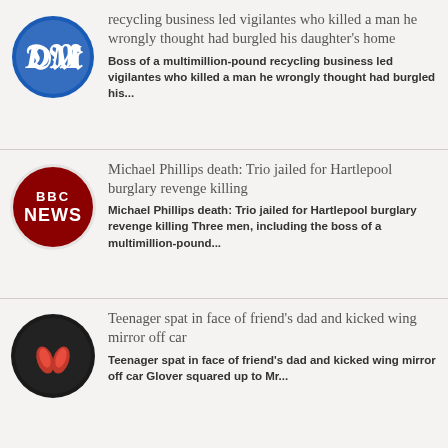[Figure (logo): Daily Mail circular logo — blue circle with white gothic DM monogram]
recycling business led vigilantes who killed a man he wrongly thought had burgled his daughter's home
Boss of a multimillion-pound recycling business led vigilantes who killed a man he wrongly thought had burgled his...
[Figure (logo): BBC News circular logo — dark red circle with white BBC NEWS text]
Michael Phillips death: Trio jailed for Hartlepool burglary revenge killing
Michael Phillips death: Trio jailed for Hartlepool burglary revenge killing Three men, including the boss of a multimillion-pound...
[Figure (logo): Dark circular logo with two red flame/leaf icons on black background]
Teenager spat in face of friend's dad and kicked wing mirror off car
Teenager spat in face of friend's dad and kicked wing mirror off car Glover squared up to Mr...